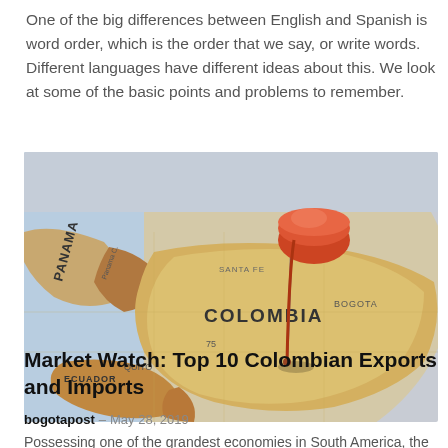One of the big differences between English and Spanish is word order, which is the order that we say, or write words. Different languages have different ideas about this. We look at some of the basic points and problems to remember.
[Figure (map): A close-up photograph of a physical map showing Colombia and surrounding countries (Panama, Ecuador) with a red push-pin stuck into Colombia, near Bogota. Map labels include PANAMA, Panama C., SANTA FE, COLOMBIA, BOGOTA, QUITO (partial), ECUADOR.]
Market Watch: Top 10 Colombian Exports and Imports
bogotapost – May 28, 2019
Possessing one of the grandest economies in South America, the